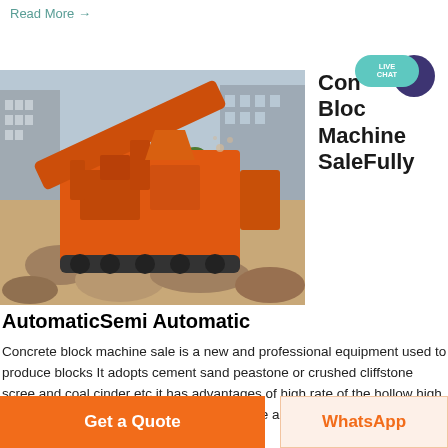Read More →
[Figure (photo): Large orange mobile crushing/block machine on a construction site with rocks and rubble in the foreground and urban buildings in the background]
Concrete Block Machine SaleFully
[Figure (infographic): Live Chat bubble icon — teal pill shape with 'LIVE CHAT' text and a dark purple speech bubble circle overlapping]
AutomaticSemi Automatic
Concrete block machine sale is a new and professional equipment used to produce blocks It adopts cement sand peastone or crushed cliffstone scree and coal cinder etc it has advantages of high rate of the hollow high quality low cost and not easy weathering We also have automatic concrete
Get a Quote
WhatsApp